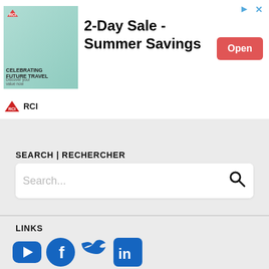[Figure (screenshot): RCI advertisement banner with image of family, '2-Day Sale - Summer Savings' text, and red 'Open' button]
[Figure (other): Collapse/accordion tab with upward caret arrow]
SEARCH | RECHERCHER
[Figure (screenshot): Search input box with placeholder text 'Search...' and magnifying glass icon]
LINKS
[Figure (infographic): Social media icons: YouTube, Facebook, Twitter, LinkedIn in blue]